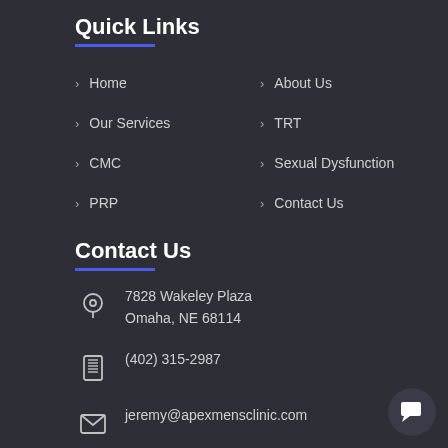Quick Links
Home
About Us
Our Services
TRT
CMC
Sexual Dysfunction
PRP
Contact Us
Contact Us
7828 Wakeley Plaza
Omaha, NE 68114
(402) 315-2987
jeremy@apexmensclinic.com